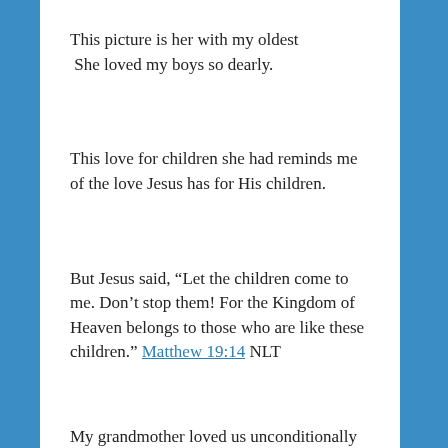This picture is her with my oldest She loved my boys so dearly.
This love for children she had reminds me of the love Jesus has for His children.
But Jesus said, “Let the children come to me. Don’t stop them! For the Kingdom of Heaven belongs to those who are like these children.” Matthew 19:14 NLT
My grandmother loved us unconditionally and even as we